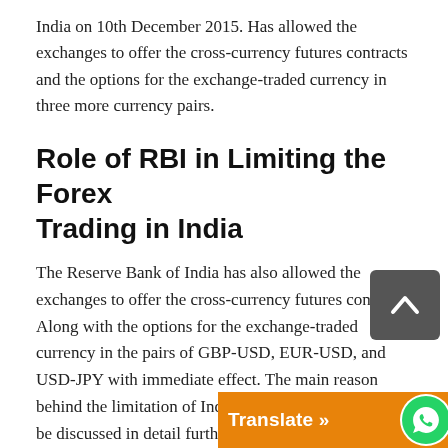India on 10th December 2015. Has allowed the exchanges to offer the cross-currency futures contracts and the options for the exchange-traded currency in three more currency pairs.
Role of RBI in Limiting the Forex Trading in India
The Reserve Bank of India has also allowed the exchanges to offer the cross-currency futures contracts. Along with the options for the exchange-traded currency in the pairs of GBP-USD, EUR-USD, and USD-JPY with immediate effect. The main reason behind the limitation of India in Forex trading would be discussed in detail further. When the traders trade EURUSD with the non-Indian traders or brokers. If they lose while trading, then they would buy USD from RBI. This kind of activity increases the defic